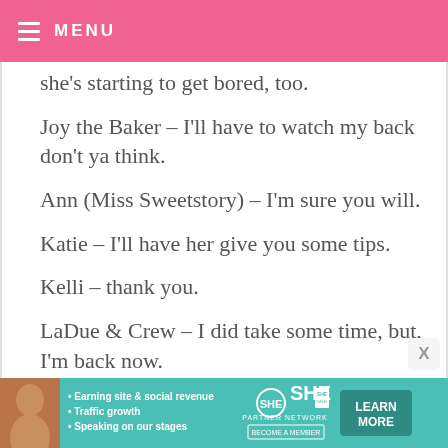MENU
she's starting to get bored, too.
Joy the Baker – I'll have to watch my back don't ya think.
Ann (Miss Sweetstory) – I'm sure you will.
Katie – I'll have her give you some tips.
Kelli – thank you.
LaDue & Crew – I did take some time, but, I'm back now.
[Figure (infographic): SHE Partner Network advertisement banner with photo of a woman, bullet points: Earning site & social revenue, Traffic growth, Speaking on our stages. Includes SHE logo, PARTNER NETWORK, BECOME A MEMBER, and LEARN MORE button.]